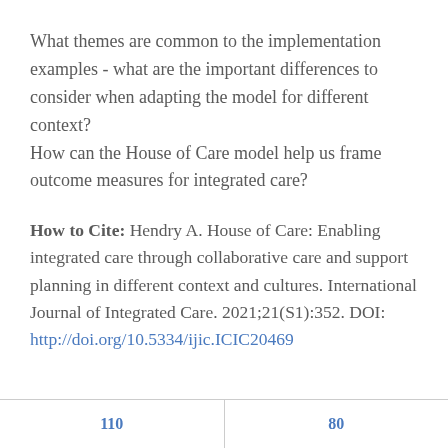What themes are common to the implementation examples - what are the important differences to consider when adapting the model for different context?
How can the House of Care model help us frame outcome measures for integrated care?
How to Cite: Hendry A. House of Care: Enabling integrated care through collaborative care and support planning in different context and cultures. International Journal of Integrated Care. 2021;21(S1):352. DOI: http://doi.org/10.5334/ijic.ICIC20469
110   80